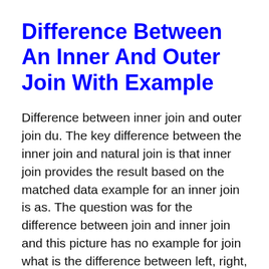Difference Between An Inner And Outer Join With Example
Difference between inner join and outer join du. The key difference between the inner join and natural join is that inner join provides the result based on the matched data example for an inner join is as. The question was for the difference between join and inner join and this picture has no example for join what is the difference between left, right, outer and....